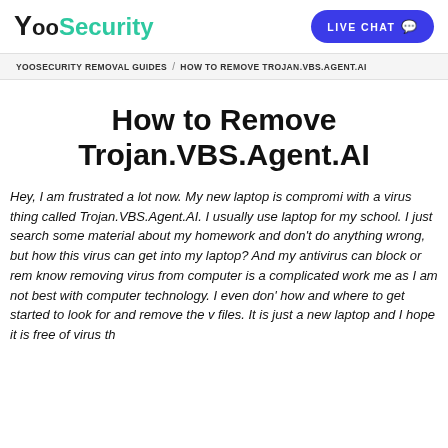YooSecurity | LIVE CHAT
YOOSECURITY REMOVAL GUIDES / HOW TO REMOVE TROJAN.VBS.AGENT.AI
How to Remove Trojan.VBS.Agent.AI
Hey, I am frustrated a lot now. My new laptop is compromised with a virus thing called Trojan.VBS.Agent.AI. I usually use laptop for my school. I just search some material about my homework and don't do anything wrong, but how this virus can get into my laptop? And my antivirus can block or remove, know removing virus from computer is a complicated work for me as I am not best with computer technology. I even don't how and where to get started to look for and remove the virus files. It is just a new laptop and I hope it is free of virus this